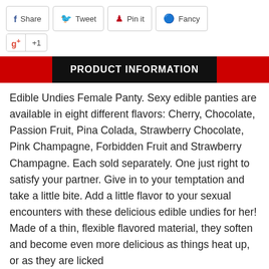[Figure (screenshot): Social sharing buttons row: Share (Facebook), Tweet (Twitter), Pin it (Pinterest), Fancy]
[Figure (screenshot): Google+1 button]
PRODUCT INFORMATION
Edible Undies Female Panty. Sexy edible panties are available in eight different flavors: Cherry, Chocolate, Passion Fruit, Pina Colada, Strawberry Chocolate, Pink Champagne, Forbidden Fruit and Strawberry Champagne. Each sold separately. One just right to satisfy your partner. Give in to your temptation and take a little bite. Add a little flavor to your sexual encounters with these delicious edible undies for her! Made of a thin, flexible flavored material, they soften and become even more delicious as things heat up, or as they are licked